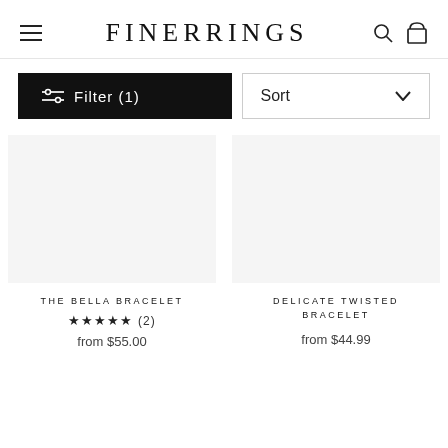FINERRINGS
Filter (1)
Sort
THE BELLA BRACELET ★★★★★ (2) from $55.00
DELICATE TWISTED BRACELET from $44.99